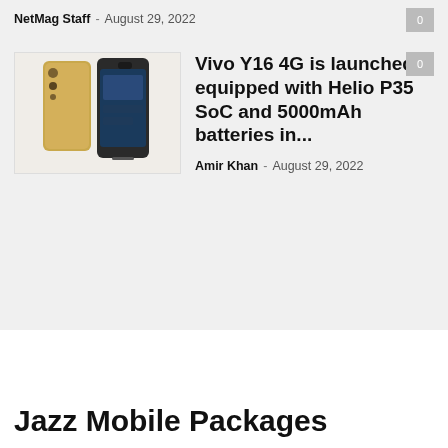NetMag Staff - August 29, 2022
[Figure (photo): Two Vivo Y16 4G smartphones shown side by side, one gold/yellow and one dark/black, showing front and back views]
Vivo Y16 4G is launched equipped with Helio P35 SoC and 5000mAh batteries in...
Amir Khan - August 29, 2022
Jazz Mobile Packages